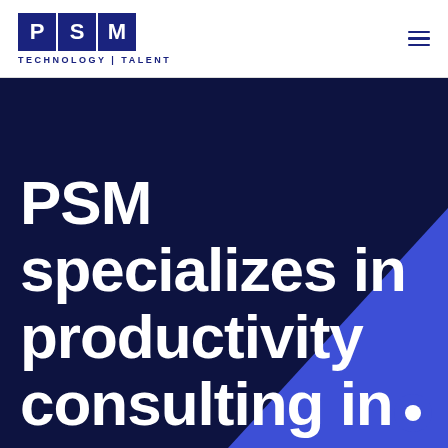[Figure (logo): PSM Technology | Talent logo with three navy blue letter boxes containing P, S, M and tagline 'TECHNOLOGY | TALENT' below]
PSM specializes in productivity consulting in